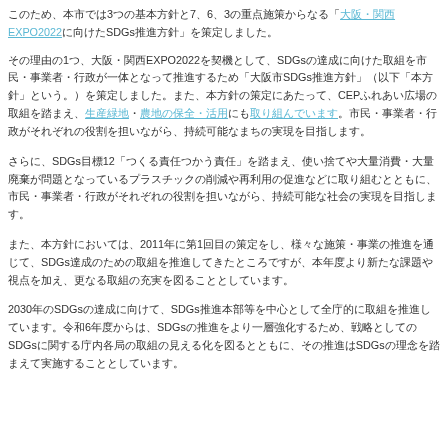このため、本市では3つの基本方針と7、6、3の重点施策からなる「大阪・関西EXPO2022に向けたSDGs推進方針」を策定しました。
その理由の1つ、大阪・関西EXPO2022を契機として、SDGsの達成に向けた取組を市民・事業者・行政が一体となって推進するため「大阪市SDGs推進方針」（以下「本方針」という。）を策定しました。また、本方針の策定にあたって、CEPふれあい広場の取組を踏まえ、生産緑地・農地の保全・活用にも取り組んでいます。
さらに、SDGs目標12「つくる責任つかう責任」を踏まえ、使い捨てや大量消費・大量廃棄が問題となっているプラスチックの削減や再利用の促進などに取り組むとともに、市民・事業者・行政がそれぞれの役割を担いながら、持続可能な社会の実現を目指します。
また、本方針においては、2011年に第1回目の策定をし、様々な施策・事業の推進を通じて、SDGs達成のための取組を推進してきたところですが、本年度より新たな課題や視点を加え、更なる取組の充実を図ることとしています。
2030年のSDGsの達成に向けて、SDGs推進本部等を中心として全庁的に取組を推進しています。令和6年度からは、SDGsの推進をより一層強化するため、戦略としてのSDGsに関する庁内各局の取組の見える化を図るとともに、その推進はSDGsの理念を踏まえて実施することとしています。